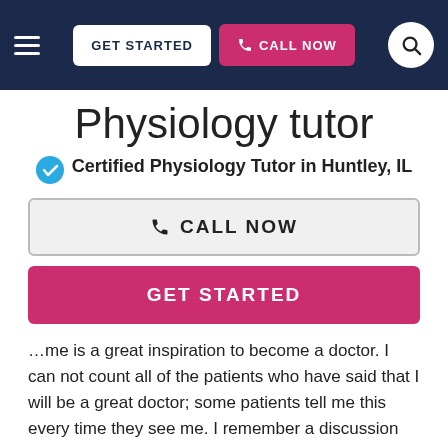GET STARTED  CALL NOW
Physiology tutor
Certified Physiology Tutor in Huntley, IL
CALL NOW
GET STARTED
…me is a great inspiration to become a doctor. I can not count all of the patients who have said that I will be a great doctor; some patients tell me this every time they see me. I remember a discussion with a